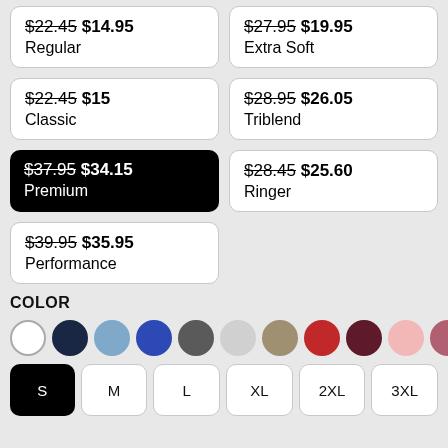$22.45 $14.95 Regular
$27.95 $19.95 Extra Soft
$22.45 $15 Classic
$28.95 $26.05 Triblend
$37.95 $34.15 Premium (selected)
$28.45 $25.60 Ringer
$39.95 $35.95 Performance
COLOR
[Figure (other): Color swatches: white, navy, light blue, blue, gray, light gray, taupe, red, maroon, pink, mauve]
Size options: S (selected), M, L, XL, 2XL, 3XL